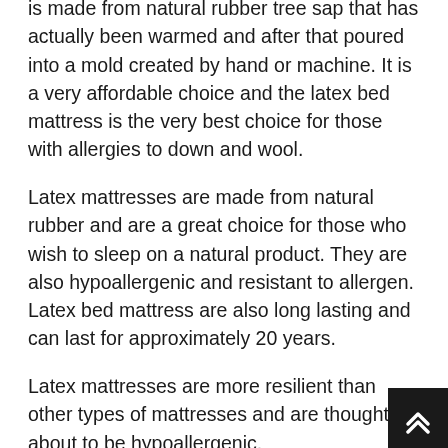is made from natural rubber tree sap that has actually been warmed and after that poured into a mold created by hand or machine. It is a very affordable choice and the latex bed mattress is the very best choice for those with allergies to down and wool.
Latex mattresses are made from natural rubber and are a great choice for those who wish to sleep on a natural product. They are also hypoallergenic and resistant to allergen. Latex bed mattress are also long lasting and can last for approximately 20 years.
Latex mattresses are more resilient than other types of mattresses and are thought about to be hypoallergenic.
Memory Foam Mattress: Memory foam bed mattress are a great choice for people who want to sleep on a mattress that is comfortable and